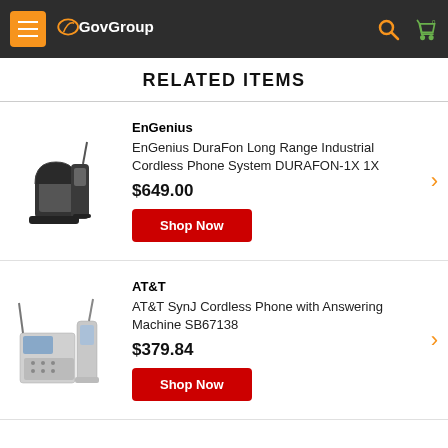GovGroup
RELATED ITEMS
EnGenius
EnGenius DuraFon Long Range Industrial Cordless Phone System DURAFON-1X 1X
$649.00
Shop Now
AT&T
AT&T SynJ Cordless Phone with Answering Machine SB67138
$379.84
Shop Now